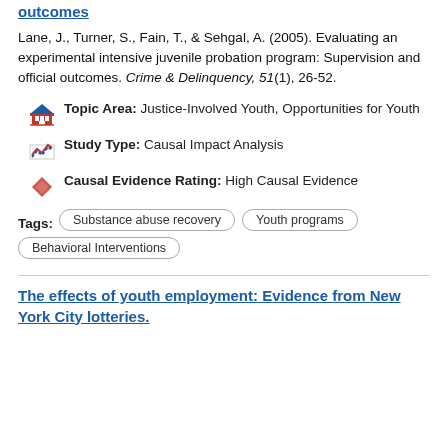outcomes
Lane, J., Turner, S., Fain, T., & Sehgal, A. (2005). Evaluating an experimental intensive juvenile probation program: Supervision and official outcomes. Crime & Delinquency, 51(1), 26-52.
Topic Area: Justice-Involved Youth, Opportunities for Youth
Study Type: Causal Impact Analysis
Causal Evidence Rating: High Causal Evidence
Tags: Substance abuse recovery  Youth programs  Behavioral Interventions
The effects of youth employment: Evidence from New York City lotteries.